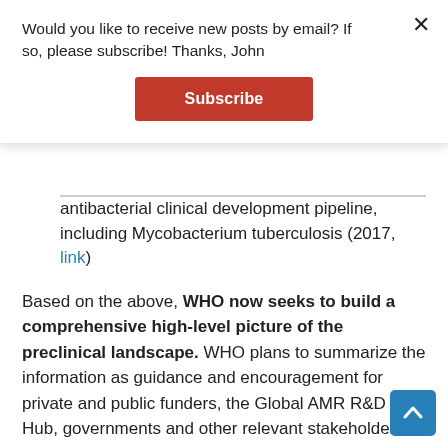Would you like to receive new posts by email? If so, please subscribe! Thanks, John
Subscribe
antibacterial clinical development pipeline, including Mycobacterium tuberculosis (2017, link)
Based on the above, WHO now seeks to build a comprehensive high-level picture of the preclinical landscape. WHO plans to summarize the information as guidance and encouragement for private and public funders, the Global AMR R&D Hub, governments and other relevant stakeholders. To get involved:
Companies, institutions and individuals are invited to submit data on their pre-clinical